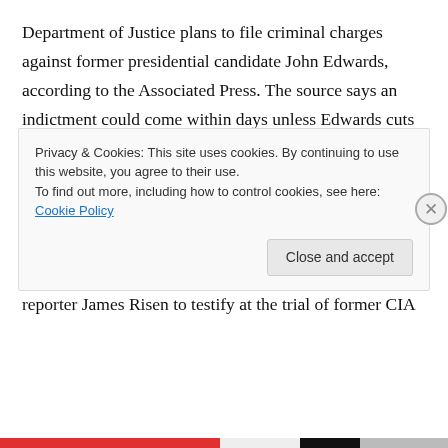Department of Justice plans to file criminal charges against former presidential candidate John Edwards, according to the Associated Press. The source says an indictment could come within days unless Edwards cuts a deal with prosecutors and pleads guilty to a negotiated charge.
Federal Prosecutors Try To Force New York Times Reporter To Reveal Sources
ABC News reports prosecutors have subpoenaed Pulitzer Prize-winning reporter James Risen to testify at the trial of former CIA
Privacy & Cookies: This site uses cookies. By continuing to use this website, you agree to their use.
To find out more, including how to control cookies, see here: Cookie Policy